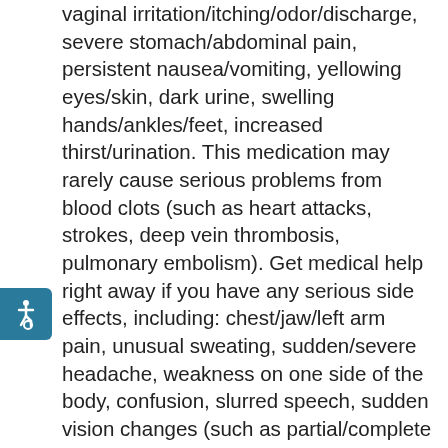vaginal irritation/itching/odor/discharge, severe stomach/abdominal pain, persistent nausea/vomiting, yellowing eyes/skin, dark urine, swelling hands/ankles/feet, increased thirst/urination. This medication may rarely cause serious problems from blood clots (such as heart attacks, strokes, deep vein thrombosis, pulmonary embolism). Get medical help right away if you have any serious side effects, including: chest/jaw/left arm pain, unusual sweating, sudden/severe headache, weakness on one side of the body, confusion, slurred speech, sudden vision changes (such as partial/complete blindness), pain/redness/swelling of legs, tingling/weakness/numbness in the arms/legs, trouble breathing, coughing up blood, sudden dizziness/fainting. A very serious allergic reaction to this product is rare. However, get medical help right away if you notice any symptoms of a serious allergic reaction, including: rash, itching/swelling (especially of the face/tongue/throat), severe dizziness, trouble breathing. This is not a complete list of possible side effects. If you notice other effects not listed above, contact your doctor
[Figure (other): Accessibility icon (wheelchair symbol) in a teal/blue rounded rectangle button on the left side of the page]